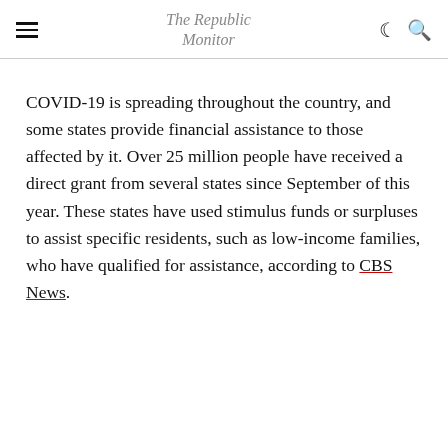The Republic Monitor
COVID-19 is spreading throughout the country, and some states provide financial assistance to those affected by it. Over 25 million people have received a direct grant from several states since September of this year. These states have used stimulus funds or surpluses to assist specific residents, such as low-income families, who have qualified for assistance, according to CBS News.